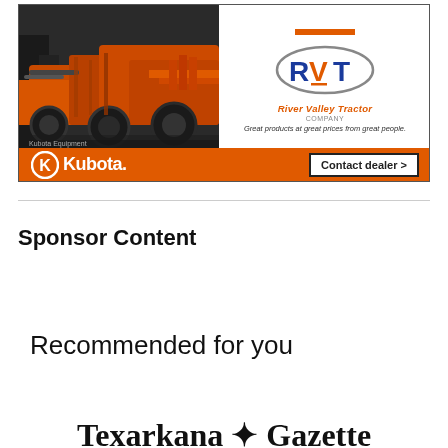[Figure (illustration): Advertisement for Kubota tractors sold by River Valley Tractor company. Left side shows photo of orange Kubota tractors/equipment. Right side shows RVT logo (River Valley Tractor) with tagline 'Great products at great prices from great people.' Bottom orange banner shows Kubota logo and 'Contact dealer >' button.]
Sponsor Content
Recommended for you
[Figure (logo): Texarkana Gazette newspaper logo in decorative blackletter/Gothic font]